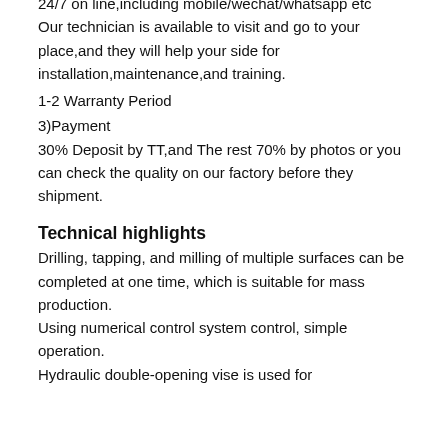24/7 on line,including mobile/wechat/whatsapp etc
Our technician is available to visit and go to your place,and they will help your side for installation,maintenance,and training.
1-2 Warranty Period
3)Payment
30% Deposit by TT,and The rest 70% by photos or you can check the quality on our factory before they shipment.
Technical highlights
Drilling, tapping, and milling of multiple surfaces can be completed at one time, which is suitable for mass production.
Using numerical control system control, simple operation.
Hydraulic double-opening vise is used for